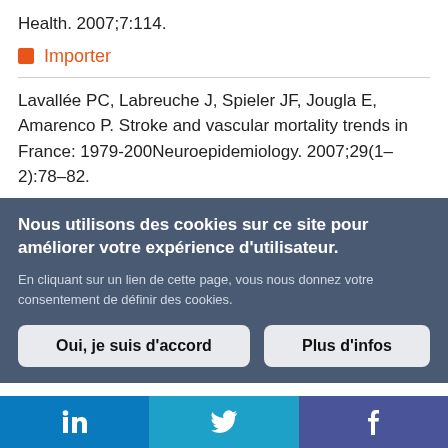Health. 2007;7:114.
Importer
Lavallée PC, Labreuche J, Spieler JF, Jougla E, Amarenco P. Stroke and vascular mortality trends in France: 1979-200Neuroepidemiology. 2007;29(1–2):78–82.
Nous utilisons des cookies sur ce site pour améliorer votre expérience d'utilisateur. En cliquant sur un lien de cette page, vous nous donnez votre consentement de définir des cookies.
Oui, je suis d'accord
Plus d'infos
[Figure (infographic): Social media sharing bar with LinkedIn, Twitter, and Facebook icons]